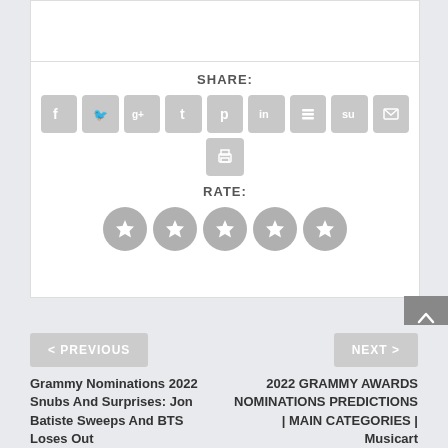SHARE:
[Figure (infographic): Social share icons: Facebook, Twitter, Google+, Tumblr, Pinterest, LinkedIn, Buffer, StumbleUpon, Email, Print]
RATE:
[Figure (other): Five gray star rating icons in a row]
< PREVIOUS
NEXT >
Grammy Nominations 2022 Snubs And Surprises: Jon Batiste Sweeps And BTS Loses Out
2022 GRAMMY AWARDS NOMINATIONS PREDICTIONS | MAIN CATEGORIES | Musicart